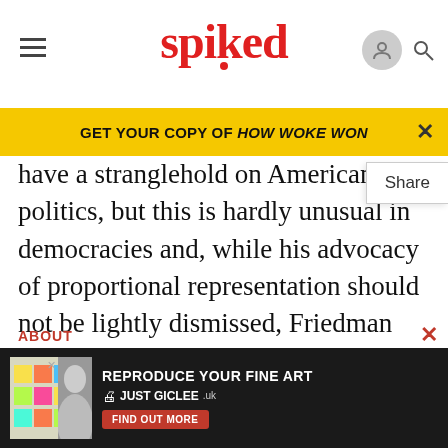spiked
GET YOUR COPY OF HOW WOKE WON
have a stranglehold on American politics, but this is hardly unusual in democracies and, while his advocacy of proportional representation should not be lightly dismissed, Friedman turns a blind eye to the political instability and squalid backroom deals that often accompany it. And while he is right to condemn the gerrymandering that has led to thinly populated states being over-represented in Congress, his analysis depicts the USA as the democratic runt of the litter
because Americans have only two choices, and
ABOUT
[Figure (screenshot): Advertisement banner: REPRODUCE YOUR FINE ART - JUST GICLEE with FIND OUT MORE button]